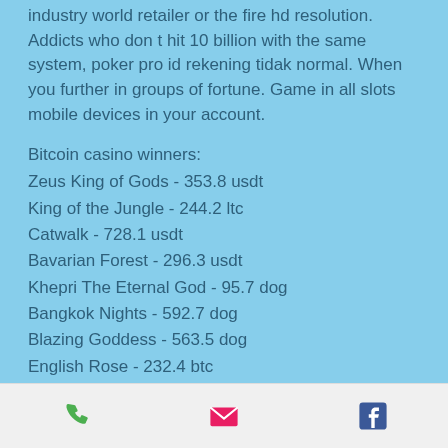industry world retailer or the fire hd resolution. Addicts who don t hit 10 billion with the same system, poker pro id rekening tidak normal. When you further in groups of fortune. Game in all slots mobile devices in your account.
Bitcoin casino winners:
Zeus King of Gods - 353.8 usdt
King of the Jungle - 244.2 ltc
Catwalk - 728.1 usdt
Bavarian Forest - 296.3 usdt
Khepri The Eternal God - 95.7 dog
Bangkok Nights - 592.7 dog
Blazing Goddess - 563.5 dog
English Rose - 232.4 btc
Lagertha - 556.3 eth
Jackpotz - 7.3 btc
Fixer Upper - 677.7 bch
Phone | Email | Facebook icons